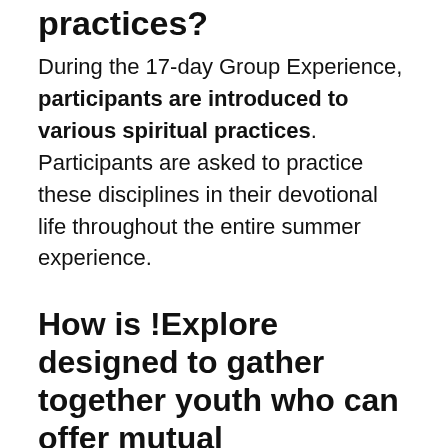practices?
During the 17-day Group Experience, participants are introduced to various spiritual practices. Participants are asked to practice these disciplines in their devotional life throughout the entire summer experience.
How is !Explore designed to gather together youth who can offer mutual encouragement and mutual discernment with